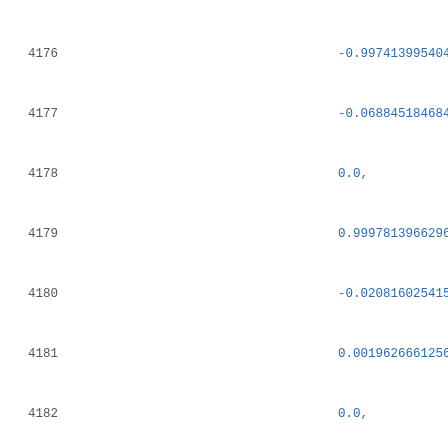Code listing lines 4176-4198 showing JSON/data structure with numeric values and nested objects including RestComponent and RigidComponent